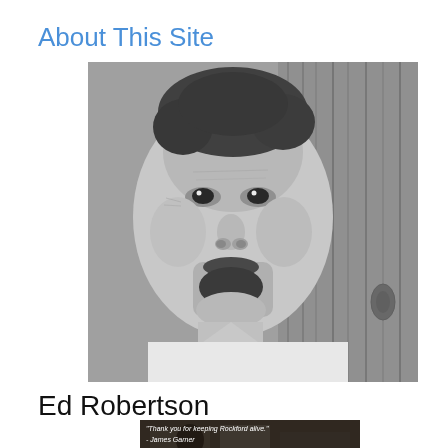About This Site
[Figure (photo): Black and white close-up portrait photograph of Ed Robertson, a middle-aged man with a goatee and curly hair, wearing a light-colored shirt, photographed against a wooden background.]
Ed Robertson
[Figure (photo): Small thumbnail image with text overlay reading: 'Thank you for keeping Rockford alive.' - James Garner]